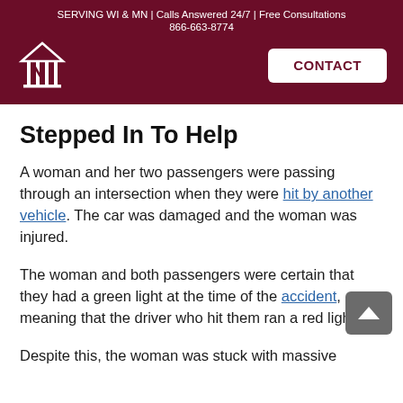SERVING WI & MN | Calls Answered 24/7 | Free Consultations 866-663-8774 CONTACT
Stepped In To Help
A woman and her two passengers were passing through an intersection when they were hit by another vehicle. The car was damaged and the woman was injured.
The woman and both passengers were certain that they had a green light at the time of the accident, meaning that the driver who hit them ran a red light.
Despite this, the woman was stuck with massive